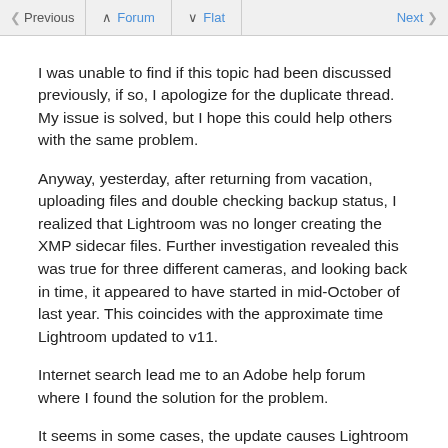Previous | Forum | Flat | Next
I was unable to find if this topic had been discussed previously, if so, I apologize for the duplicate thread. My issue is solved, but I hope this could help others with the same problem.
Anyway, yesterday, after returning from vacation, uploading files and double checking backup status, I realized that Lightroom was no longer creating the XMP sidecar files. Further investigation revealed this was true for three different cameras, and looking back in time, it appeared to have started in mid-October of last year. This coincides with the approximate time Lightroom updated to v11.
Internet search lead me to an Adobe help forum where I found the solution for the problem.
It seems in some cases, the update causes Lightroom to "pause" the XMP saving process.
The solution is to go to the drop down menu that appears when left clicking the Identity Plate (upper left hand corner) and click pause, then unpause "Saving XMP."